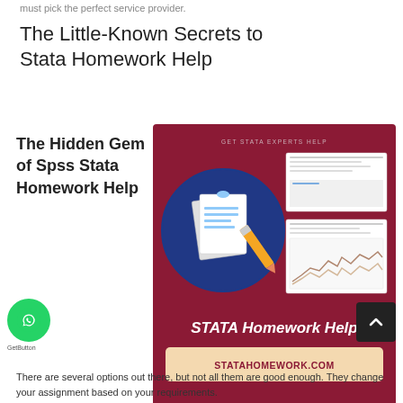must pick the perfect service provider.
The Little-Known Secrets to Stata Homework Help
The Hidden Gem of Spss Stata Homework Help
[Figure (illustration): Advertisement image for STATA Homework Help on a dark red background. Shows a blue circle with document and pencil icon, paper sheets with data/graphs on the right, text reading 'GET STATA EXPERTS HELP', 'STATA Homework Help' in white bold italic, and 'STATAHOMEWORK.COM' in a beige box.]
There are several options out there, but not all them are good enough. They change your assignment based on your requirements.